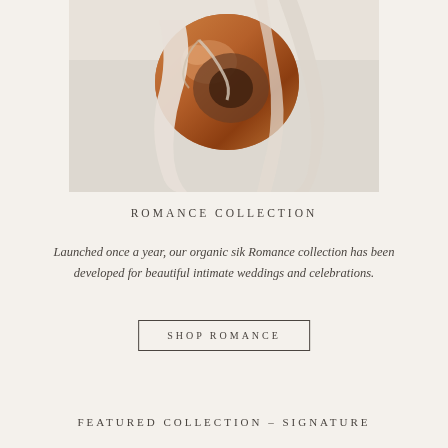[Figure (photo): Overhead view of a copper bowl with white silk or ribbon fabric draped over it, on a light background. Part of a product photography setup for the Romance Collection.]
ROMANCE COLLECTION
Launched once a year, our organic sik Romance collection has been developed for beautiful intimate weddings and celebrations.
SHOP ROMANCE
FEATURED COLLECTION – SIGNATURE